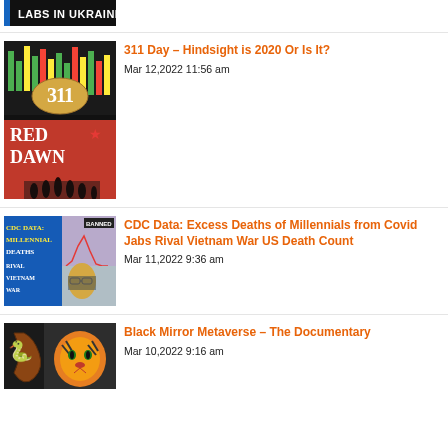[Figure (screenshot): Partial thumbnail showing 'LABS IN UKRAINE' text on dark background]
[Figure (photo): 311 band logo and Red Dawn movie poster composite thumbnail]
311 Day – Hindsight is 2020 Or Is It?
Mar 12,2022 11:56 am
[Figure (screenshot): CDC Data: Millennial Deaths Rival Vietnam War thumbnail with man in glasses]
CDC Data: Excess Deaths of Millennials from Covid Jabs Rival Vietnam War US Death Count
Mar 11,2022 9:36 am
[Figure (photo): Black Mirror Metaverse documentary thumbnail with tiger and snake]
Black Mirror Metaverse – The Documentary
Mar 10,2022 9:16 am